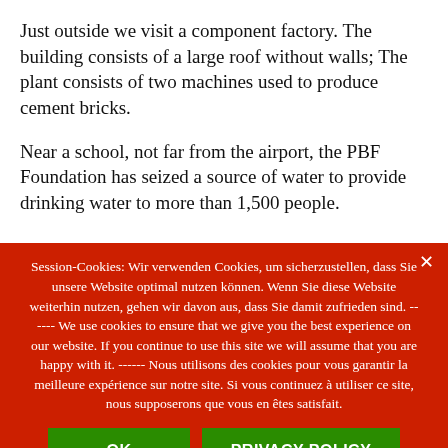Just outside we visit a component factory. The building consists of a large roof without walls; The plant consists of two machines used to produce cement bricks.
Near a school, not far from the airport, the PBF Foundation has seized a source of water to provide drinking water to more than 1,500 people.
Session-Cookies: Wir verwenden Cookies, um sicherzustellen, dass Sie unsere Website optimal nutzen können. Wenn Sie diese Website weiterhin nutzen, gehen wir davon aus, dass Sie damit zufrieden sind. ------ We use cookies to ensure that we give you the best experience on our website. If you continue to use this site we will assume that you are happy with it. ------ Nous utilisons des cookies pour vous garantir la meilleure expérience sur notre site. Si vous continuez à utiliser ce site, nous supposerons que vous en êtes satisfait.